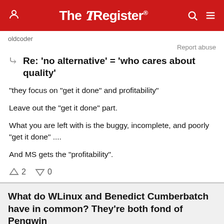The Register
oldcoder
Report abuse
Re: 'no alternative' = 'who cares about quality'
"they focus on "get it done" and profitability"
Leave out the "get it done" part.
What you are left with is the buggy, incomplete, and poorly "get it done" ....
And MS gets the "profitability".
↑2  ↓0
What do WLinux and Benedict Cumberbatch have in common? They're both fond of Pengwin